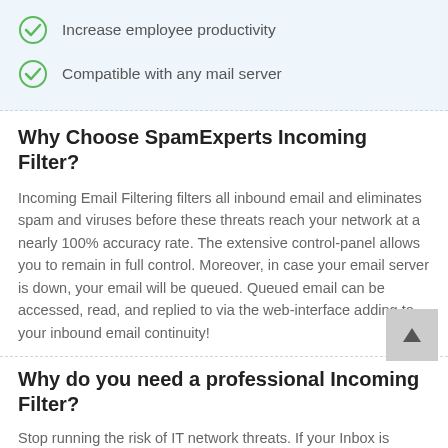Increase employee productivity
Compatible with any mail server
Why Choose SpamExperts Incoming Filter?
Incoming Email Filtering filters all inbound email and eliminates spam and viruses before these threats reach your network at a nearly 100% accuracy rate. The extensive control-panel allows you to remain in full control. Moreover, in case your email server is down, your email will be queued. Queued email can be accessed, read, and replied to via the web-interface adding to your inbound email continuity!
Why do you need a professional Incoming Filter?
Stop running the risk of IT network threats. If your Inbox is